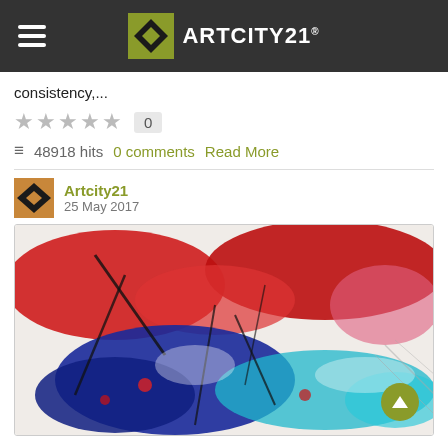[Figure (logo): ARTCITY21 website header with hamburger menu, olive-green diamond logo and white text]
consistency,...
★★★★★  0
≡  48918 hits  0 comments  Read More
Artcity21
25 May 2017
[Figure (photo): Abstract expressionist painting with red, blue, black and teal paint splashes on white canvas]